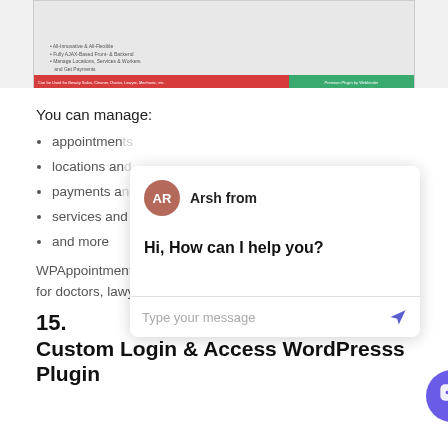[Figure (screenshot): Screenshot of WPAppointment plugin interface showing a phone/tablet mockup with text lines and a bottom bar with red and green sections. Red section: 'Can be Used for Beauty Salon, Cleaner, Doctor, Lawyer, Mechanic, etc.', Green section: 'Premium Plugin by Webkinder']
You can manage:
appointments
locations and
payments and
services and
and more
WPAppointmen… for doctors, lawyers, mechanics, hairdressers, and more!
[Figure (screenshot): Chat widget overlay showing avatar 'AR' with name 'Arsh from', message 'Hi, How can I help you?', and a text input area with placeholder 'Type your message' and a send button. A close (X) button appears in the top right of the overlay. A purple floating chat icon is in the bottom right corner.]
15.
Custom Login & Access WordPresss Plugin